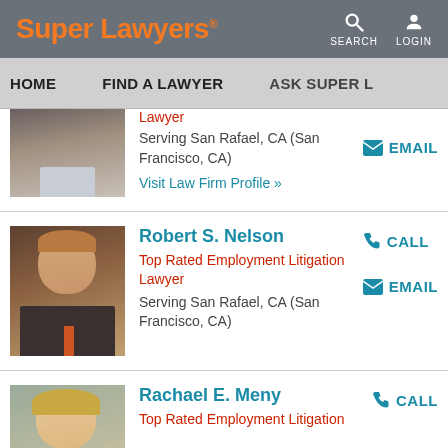Super Lawyers | SEARCH | LOGIN
HOME | FIND A LAWYER | ASK SUPER L
Lawyer
Serving San Rafael, CA (San Francisco, CA)
Visit Law Firm Profile »
EMAIL
Robert S. Nelson
Top Rated Employment Litigation Lawyer
Serving San Rafael, CA (San Francisco, CA)
CALL
EMAIL
Rachael E. Meny
Top Rated Employment Litigation
CALL